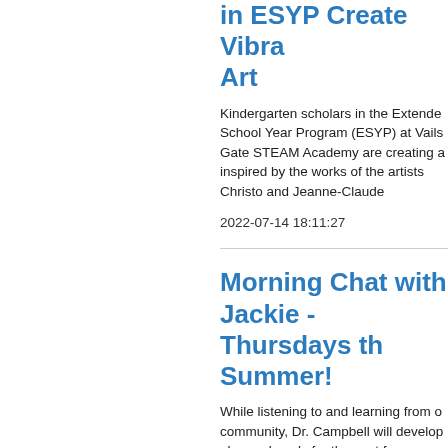in ESYP Create Vibrant Art
Kindergarten scholars in the Extended School Year Program (ESYP) at Vails Gate STEAM Academy are creating art inspired by the works of the artists Christo and Jeanne-Claude
2022-07-14 18:11:27
Morning Chat with Jackie - Thursdays this Summer!
While listening to and learning from our community, Dr. Campbell will develop a plan and goals for the next four years that will serve our children and educators and provide a framework to move our schools and district forward